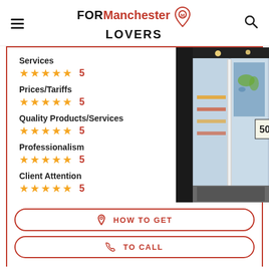FOR Manchester LOVERS
Services ★★★★★ 5
Prices/Tariffs ★★★★★ 5
Quality Products/Services ★★★★★ 5
Professionalism ★★★★★ 5
Client Attention ★★★★★ 5
[Figure (photo): Exterior entrance of a travel agency/shop with glass revolving doors, world map poster visible inside, and a '50' sign on the right window.]
HOW TO GET
TO CALL